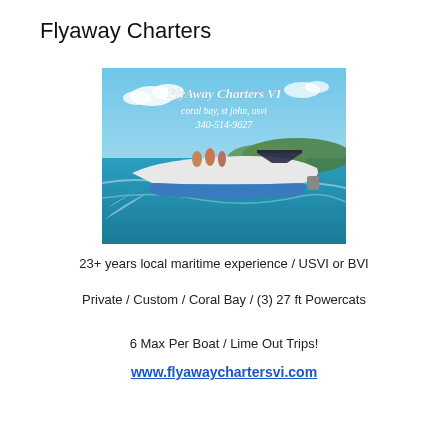Flyaway Charters
[Figure (photo): Boat speeding on blue water with people aboard; text overlay reads 'FlyAway Charters VI, coral bay, st john, usvi, 340-514-9627']
23+ years local maritime experience / USVI or BVI
Private / Custom / Coral Bay / (3) 27 ft Powercats
6 Max Per Boat / Lime Out Trips!
www.flyawaychartersvi.com